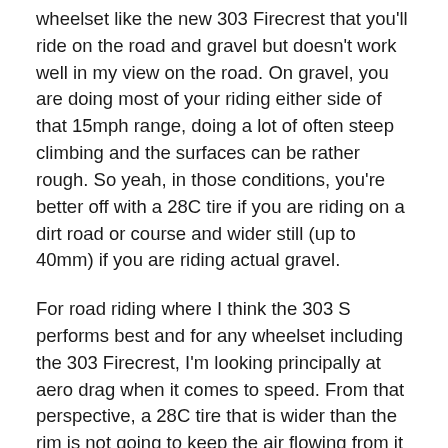wheelset like the new 303 Firecrest that you'll ride on the road and gravel but doesn't work well in my view on the road. On gravel, you are doing most of your riding either side of that 15mph range, doing a lot of often steep climbing and the surfaces can be rather rough. So yeah, in those conditions, you're better off with a 28C tire if you are riding on a dirt road or course and wider still (up to 40mm) if you are riding actual gravel.
For road riding where I think the 303 S performs best and for any wheelset including the 303 Firecrest, I'm looking principally at aero drag when it comes to speed. From that perspective, a 28C tire that is wider than the rim is not going to keep the air flowing from it to the rim (and vice versa) in a smooth (laminar) way while a 25C that is narrower than the rim is going to get that aero effect and benefit. You'll see the claim that a 28C tire also has better rolling